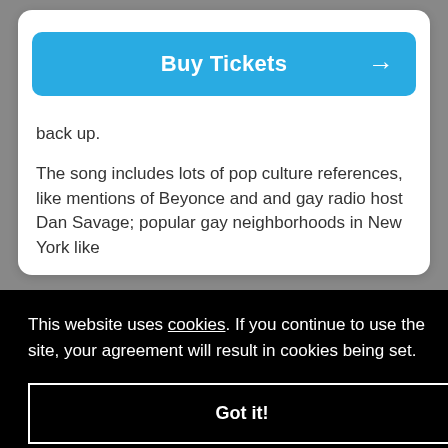[Figure (screenshot): Blue 'Buy Tickets' button with white bold text and right arrow]
back up.
The song includes lots of pop culture references, like mentions of Beyonce and and gay radio host Dan Savage; popular gay neighborhoods in New York like
This website uses cookies. If you continue to use the site, your agreement will result in cookies being set.
Got it!
that Usher sings without backing from any of the